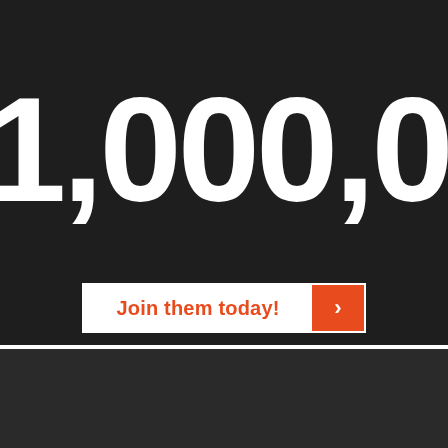1,000,00
Of Happy Customers!
Join them today! >
ExamHiredHelp.com
CONTACT US